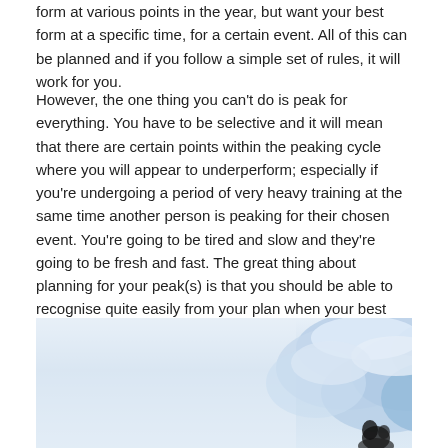form at various points in the year, but want your best form at a specific time, for a certain event. All of this can be planned and if you follow a simple set of rules, it will work for you.
However, the one thing you can't do is peak for everything. You have to be selective and it will mean that there are certain points within the peaking cycle where you will appear to underperform; especially if you're undergoing a period of very heavy training at the same time another person is peaking for their chosen event. You're going to be tired and slow and they're going to be fresh and fast. The great thing about planning for your peak(s) is that you should be able to recognise quite easily from your plan when your best performances are going to be. Form isn't mysterious and you don't just have 'bad days'. There's always a reason for a bad performance and there's always a reason for a good one too.
[Figure (photo): A photo showing a cloudy blue sky on the right side and light/white area on the left, with a small dark figure (possibly a person or animal) visible at the bottom right.]